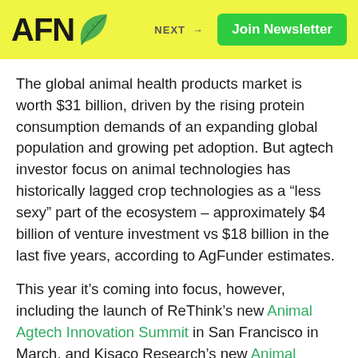AFN | NEXT → | Join Newsletter
The global animal health products market is worth $31 billion, driven by the rising protein consumption demands of an expanding global population and growing pet adoption. But agtech investor focus on animal technologies has historically lagged crop technologies as a “less sexy” part of the ecosystem – approximately $4 billion of venture investment vs $18 billion in the last five years, according to AgFunder estimates.
This year it’s coming into focus, however, including the launch of ReThink’s new Animal Agtech Innovation Summit in San Francisco in March, and Kisaco Research’s new Animal Health Investment